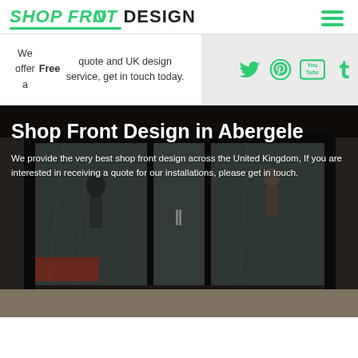SHOP FRONT DESIGN
We offer a Free quote and UK design service, get in touch today.
[Figure (infographic): Social media icons: Twitter, Pinterest, YouTube, Tumblr in green on grey background]
[Figure (photo): Shop front with large glass sliding doors, mannequins visible inside, dark framing. Overlaid text: Shop Front Design in Abergele. We provide the very best shop front design across the United Kingdom, If you are interested in receiving a quote for our installations, please get in touch.]
Shop Front Design in Abergele
We provide the very best shop front design across the United Kingdom, If you are interested in receiving a quote for our installations, please get in touch.